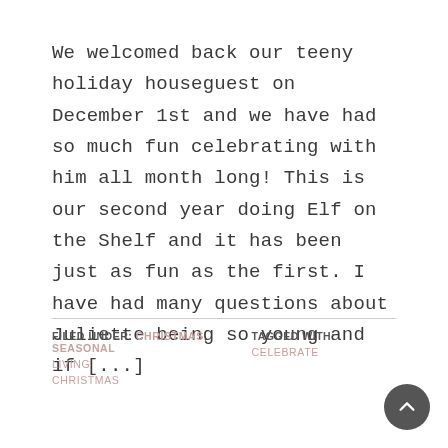We welcomed back our teeny holiday houseguest on December 1st and we have had so much fun celebrating with him all month long! This is our second year doing Elf on the Shelf and it has been just as fun as the first. I have had many questions about Juliette being so young and if [...]
FILED UNDER: CHRISTMAS, SEASONAL LIVING CHRISTMAS
TAGGED WITH: CELEBRATE